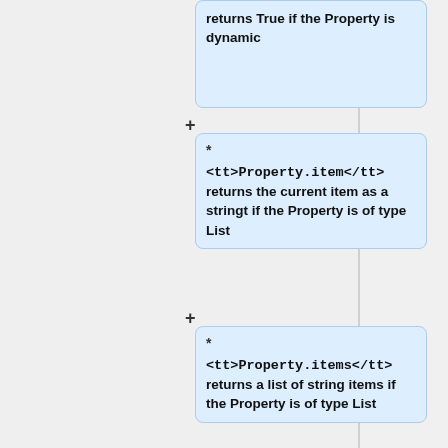returns True if the Property is dynamic
* <tt>Property.item</tt> returns the current item as a stringt if the Property is of type List
* <tt>Property.items</tt> returns a list of string items if the Property is of type List
* <tt>Property.obsolete</tt> returns True if